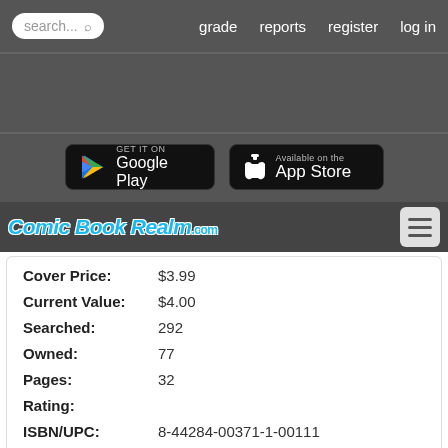search... grade reports register log in
[Figure (logo): Google Play and App Store download buttons]
[Figure (logo): Comic Book Realm .com logo with hamburger menu]
Cover Price: $3.99
Current Value: $4.00
Searched: 292
Owned: 77
Pages: 32
Rating:
ISBN/UPC: 8-44284-00371-1-00111
Est. Print Run:
Variant of:
Analyze: